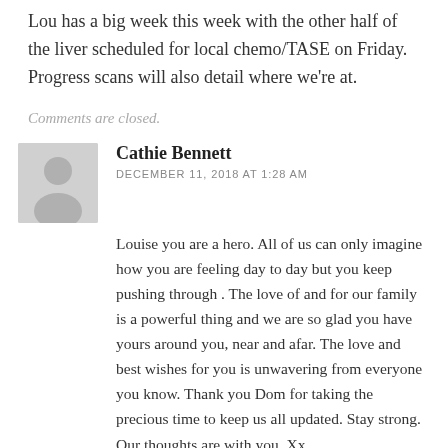Lou has a big week this week with the other half of the liver scheduled for local chemo/TASE on Friday. Progress scans will also detail where we're at.
Comments are closed.
Cathie Bennett
DECEMBER 11, 2018 AT 1:28 AM
Louise you are a hero. All of us can only imagine how you are feeling day to day but you keep pushing through . The love of and for our family is a powerful thing and we are so glad you have yours around you, near and afar. The love and best wishes for you is unwavering from everyone you know. Thank you Dom for taking the precious time to keep us all updated. Stay strong. Our thoughts are with you. Xx